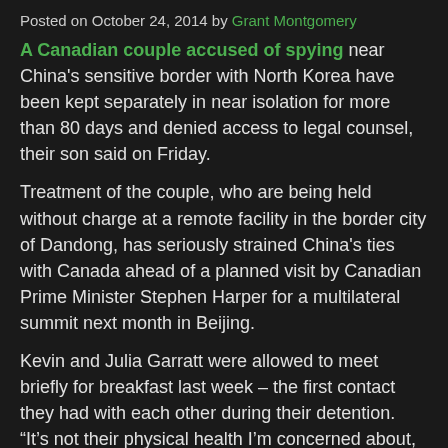Posted on October 24, 2014 by Grant Montgomery
A Canadian couple accused of spying near China's sensitive border with North Korea have been kept separately in near isolation for more than 80 days and denied access to legal counsel, their son said on Friday.
Treatment of the couple, who are being held without charge at a remote facility in the border city of Dandong, has seriously strained China's ties with Canada ahead of a planned visit by Canadian Prime Minister Stephen Harper for a multilateral summit next month in Beijing.
Kevin and Julia Garratt were allowed to meet briefly for breakfast last week – the first contact they had with each other during their detention. “It’s not their physical health I’m concerned about, it’s more their mental health,” their son, Simeon Garratt, told Reuters by phone. “You put anybody in a situation like that for 80 days, where you can’t talk to anybody else and with no outside contact, and you don’t know what could happen. It’s not about food or water.”